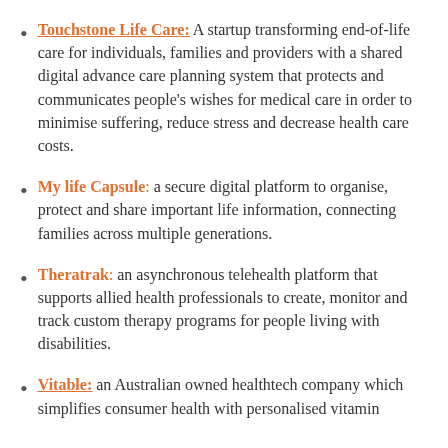Touchstone Life Care: A startup transforming end-of-life care for individuals, families and providers with a shared digital advance care planning system that protects and communicates people's wishes for medical care in order to minimise suffering, reduce stress and decrease health care costs.
My life Capsule: a secure digital platform to organise, protect and share important life information, connecting families across multiple generations.
Theratrak: an asynchronous telehealth platform that supports allied health professionals to create, monitor and track custom therapy programs for people living with disabilities.
Vitable: an Australian owned healthtech company which simplifies consumer health with personalised vitamin